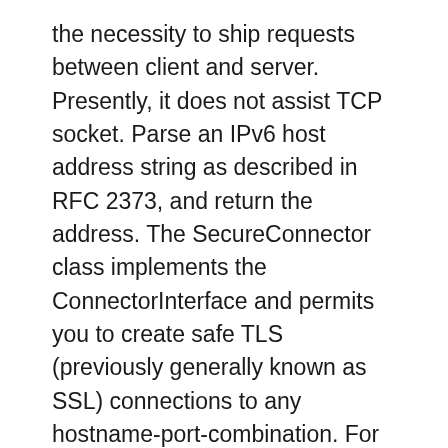the necessity to ship requests between client and server. Presently, it does not assist TCP socket. Parse an IPv6 host address string as described in RFC 2373, and return the address. The SecureConnector class implements the ConnectorInterface and permits you to create safe TLS (previously generally known as SSL) connections to any hostname-port-combination. For AF_INET6 deal with family, a 4-tuple (host, port, flowinfo, scopeid) is used, where flowinfo and scopeid characterize the sin6_flowinfo and sin6_scope_id members in struct sockaddr_in6 in C. For socket module methods, flowinfo and scopeid may be omitted only for backward compatibility. For udp sockets, this just represents whether or not a default distant tackle has been specified for reading and writing packets. A UDP server does not create new baby processes for each concurrently served consumer, however the identical process handles incoming information packets from all remote clients sequentially by way of the identical